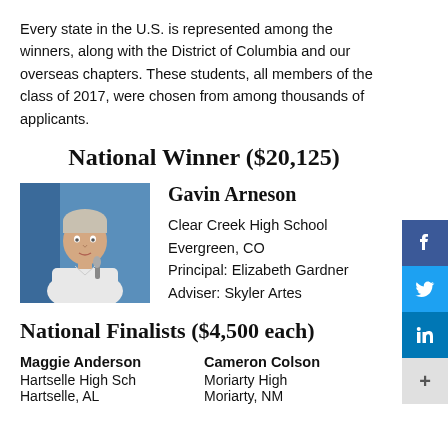Every state in the U.S. is represented among the winners, along with the District of Columbia and our overseas chapters. These students, all members of the class of 2017, were chosen from among thousands of applicants.
National Winner ($20,125)
[Figure (photo): Photo of Gavin Arneson, a young man in a white shirt speaking at a microphone against a blue background]
Gavin Arneson
Clear Creek High School
Evergreen, CO
Principal: Elizabeth Gardner
Adviser: Skyler Artes
National Finalists ($4,500 each)
Maggie Anderson
Hartselle High Sch
Hartselle, AL
Cameron Colson
Moriarty High
Moriarty, NM